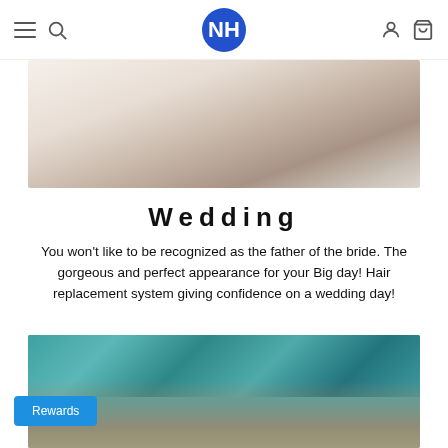NH logo navigation bar with menu, search, account, and cart icons
[Figure (photo): Close-up photo of a bride and groom, showing white wedding attire and veil from shoulder level]
Wedding
You won't like to be recognized as the father of the bride. The gorgeous and perfect appearance for your Big day! Hair replacement system giving confidence on a wedding day!
[Figure (photo): Man with tattoos floating or lying in water, seen from above, with turquoise water splashing around him]